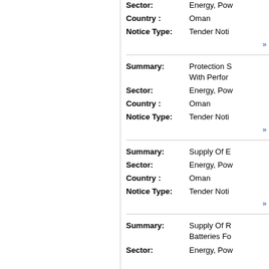Sector: Energy, Pow...
Country: Oman
Notice Type: Tender Noti...
Summary: Protection S... With Perfor...
Sector: Energy, Pow...
Country: Oman
Notice Type: Tender Noti...
Summary: Supply Of E...
Sector: Energy, Pow...
Country: Oman
Notice Type: Tender Noti...
Summary: Supply Of R... Batteries Fo...
Sector: Energy, Pow...